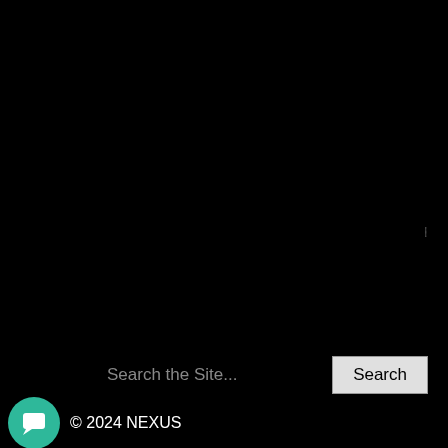Send
Related Posts
Welcome to the NEXUS site!
NEXUS premieres new Ewazen work at PASIC in November – Austin, TX
NEXUS with the Kansas City Symphony Orchestra
Calendar
NEXUS with The Pacific Symphony Orchestra – June 2007
NEXUS Releases “Wings” – a new CD
Search the Site...
Search
© 2024 NEXUS